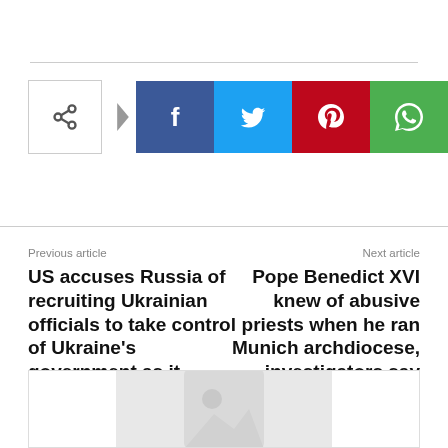[Figure (infographic): Social share buttons: share icon box, arrow, Facebook, Twitter, Pinterest, WhatsApp]
Previous article
US accuses Russia of recruiting Ukrainian officials to take control of Ukraine's government as it unveils new sanctions
Next article
Pope Benedict XVI knew of abusive priests when he ran Munich archdiocese, investigators say
[Figure (other): Advertisement placeholder box with grey image placeholder icon]